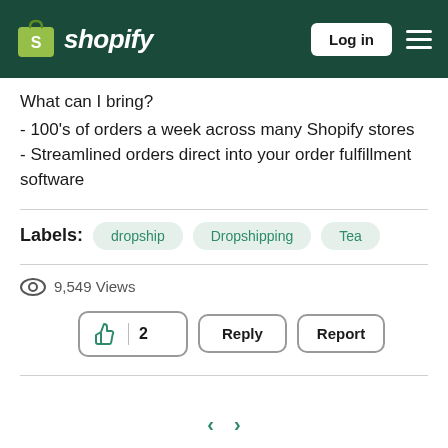Shopify — Log in
What can I bring?
- 100's of orders a week across many Shopify stores
- Streamlined orders direct into your order fulfillment software
Labels: dropship  Dropshipping  Tea
9,549 Views
👍 2   Reply   Report